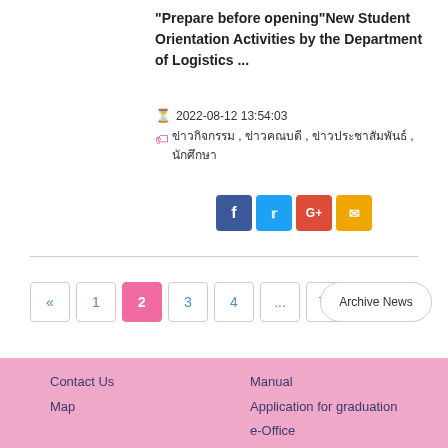"Prepare before opening"New Student Orientation Activities by the Department of Logistics ...
2022-08-12 13:54:03
ข่าวกิจกรรม , ข่าวคณบดี , ข่าวประชาสัมพันธ์ , นักศึกษา
[Figure (infographic): Social share buttons: Facebook (blue), Twitter (light blue), Google+ (red), Email (orange/yellow)]
« 1 2 3 4 ... 77 »
Archive News
Contact Us
Map
Manual
Application for graduation
e-Office
Library services...